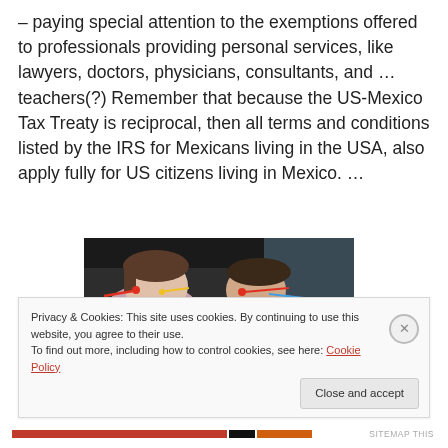– paying special attention to the exemptions offered to professionals providing personal services, like lawyers, doctors, physicians, consultants, and … teachers(?) Remember that because the US-Mexico Tax Treaty is reciprocal, then all terms and conditions listed by the IRS for Mexicans living in the USA, also apply fully for US citizens living in Mexico. …
[Figure (photo): Two people (likely children or young women) lying down close together with colorful wires or accessories near their faces, photographed in low light]
Privacy & Cookies: This site uses cookies. By continuing to use this website, you agree to their use.
To find out more, including how to control cookies, see here: Cookie Policy